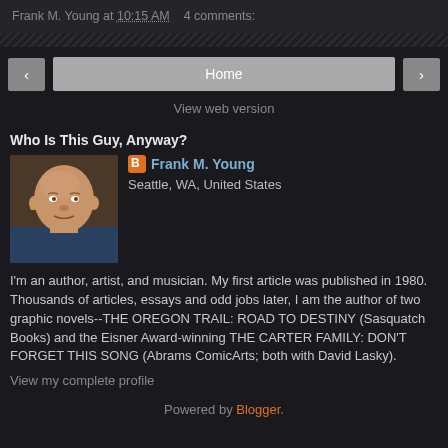Frank M. Young at 10:15 AM   4 comments:
Home
View web version
Who Is This Guy, Anyway?
[Figure (photo): Headshot photo of Frank M. Young, a bald white male]
Frank M. Young
Seattle, WA, United States
I'm an author, artist, and musician. My first article was published in 1980. Thousands of articles, essays and odd jobs later, I am the author of two graphic novels--THE OREGON TRAIL: ROAD TO DESTINY (Sasquatch Books) and the Eisner Award-winning THE CARTER FAMILY: DON'T FORGET THIS SONG (Abrams ComicArts; both with David Lasky).
View my complete profile
Powered by Blogger.